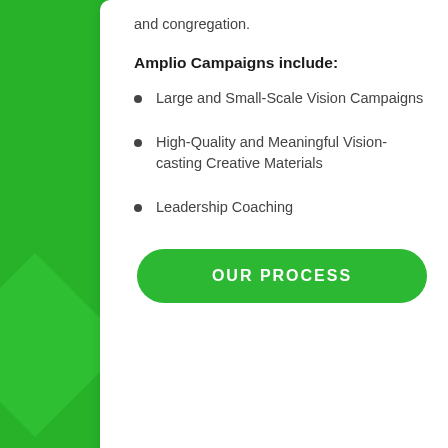and congregation.
Amplio Campaigns include:
Large and Small-Scale Vision Campaigns
High-Quality and Meaningful Vision-casting Creative Materials
Leadership Coaching
OUR PROCESS